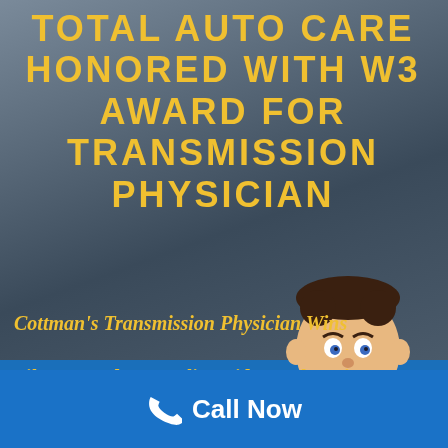TOTAL AUTO CARE HONORED WITH W3 AWARD FOR TRANSMISSION PHYSICIAN
Cottman's Transmission Physician Wins Silver Award For Online Video-Web Series
YOU ARE HERE: HOME → COTTMAN TRANSMISSION AND TOTAL AUTO CARE HONORED WITH W3 AWARD FOR TRANSMISSION PHYSICIAN
[Figure (illustration): 3D animated character of a mechanic in a blue uniform, smiling, on a blurred gray-blue background]
Call Now